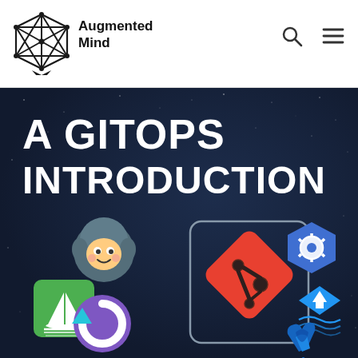Augmented Mind
[Figure (illustration): Hero banner with dark navy/space background showing 'A GITOPS INTRODUCTION' text and logos including Git (red diamond), Kubernetes (blue helm), Werf, Argo CD (octopus), Flux CD (sailboat), and Argo Rollouts icons arranged around a central Git logo in a rounded rectangle frame.]